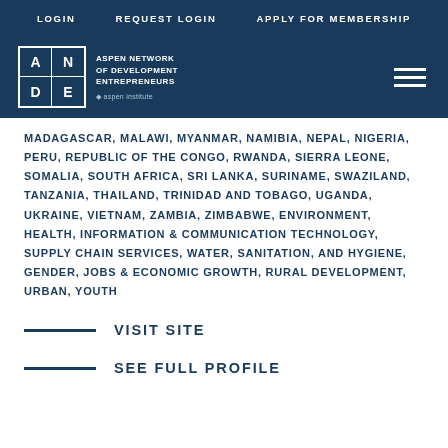LOGIN   REQUEST LOGIN   APPLY FOR MEMBERSHIP
[Figure (logo): ANDE - Aspen Network of Development Entrepreneurs logo with Aspen Institute branding, white on dark blue background]
MADAGASCAR, MALAWI, MYANMAR, NAMIBIA, NEPAL, NIGERIA, PERU, REPUBLIC OF THE CONGO, RWANDA, SIERRA LEONE, SOMALIA, SOUTH AFRICA, SRI LANKA, SURINAME, SWAZILAND, TANZANIA, THAILAND, TRINIDAD AND TOBAGO, UGANDA, UKRAINE, VIETNAM, ZAMBIA, ZIMBABWE, ENVIRONMENT, HEALTH, INFORMATION & COMMUNICATION TECHNOLOGY, SUPPLY CHAIN SERVICES, WATER, SANITATION, AND HYGIENE, GENDER, JOBS & ECONOMIC GROWTH, RURAL DEVELOPMENT, URBAN, YOUTH
VISIT SITE
SEE FULL PROFILE